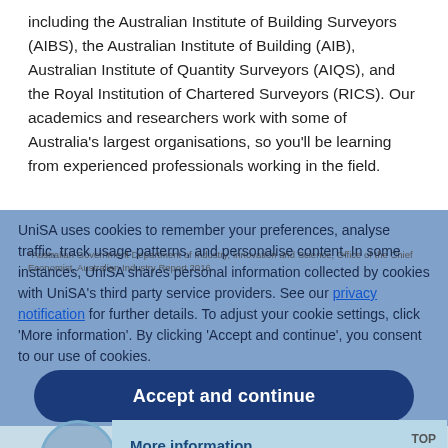including the Australian Institute of Building Surveyors (AIBS), the Australian Institute of Building (AIB), Australian Institute of Quantity Surveyors (AIQS), and the Royal Institution of Chartered Surveyors (RICS). Our academics and researchers work with some of Australia's largest organisations, so you'll be learning from experienced professionals working in the field.
*Australian Government Department of Industry, Innovation and Science, Office of the Chief Economist, Australian Industry Report 2016.
UniSA uses cookies to remember your preferences, analyse traffic, track usage patterns, and personalise content. In some instances, UniSA shares personal information collected by cookies with UniSA's third party service providers. See our privacy notification for further details. To adjust your cookie settings, click 'More information'. By clicking 'Accept and continue', you consent to our use of cookies.
Accept and continue
Enquire
More information
ENQUIRE
TOP